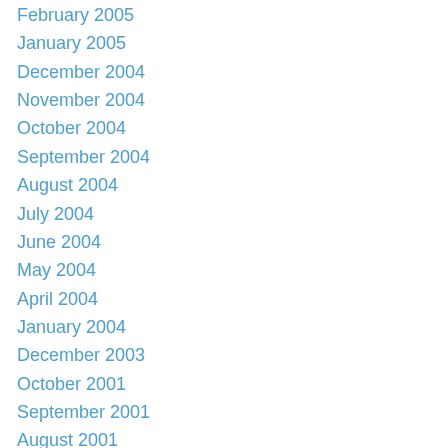February 2005
January 2005
December 2004
November 2004
October 2004
September 2004
August 2004
July 2004
June 2004
May 2004
April 2004
January 2004
December 2003
October 2001
September 2001
August 2001
May 2001
December 2000
August 2000
June 1999